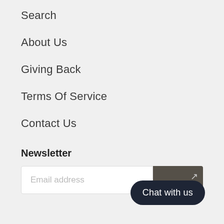Search
About Us
Giving Back
Terms Of Service
Contact Us
Newsletter
Email address
Chat with us